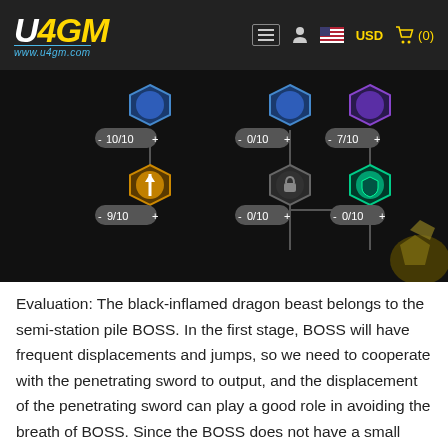U4GM www.u4gm.com — USD (0)
[Figure (screenshot): Game skill tree screenshot showing hexagonal skill nodes with values: 10/10, 0/10, 7/10 in one row; an orange sword icon with 9/10, a locked icon with 0/10, and a green shield icon with 0/10 in the next row.]
Evaluation: The black-inflamed dragon beast belongs to the semi-station pile BOSS. In the first stage, BOSS will have frequent displacements and jumps, so we need to cooperate with the penetrating sword to output, and the displacement of the penetrating sword can play a good role in avoiding the breath of BOSS. Since the BOSS does not have a small monster, and the skill damage is relatively high, it needs to be avoided, so Shield Mastery is difficult to trigger the effect, so give up. The Knight will is a must-have point in the BOSS transition phase. Unless the team has other Knights, it needs to